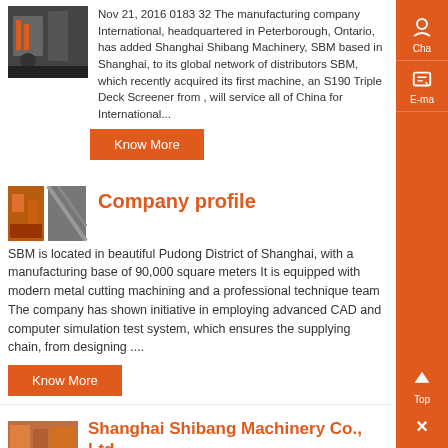[Figure (photo): Thumbnail image of industrial machinery]
Nov 21, 2016 0183 32 The manufacturing company International, headquartered in Peterborough, Ontario, has added Shanghai Shibang Machinery, SBM based in Shanghai, to its global network of distributors SBM, which recently acquired its first machine, an S190 Triple Deck Screener from , will service all of China for International...
Know More
[Figure (photo): Two thumbnails: warehouse and conveyor belt images]
Company profile
SBM is located in beautiful Pudong District of Shanghai, with a manufacturing base of 90,000 square meters It is equipped with modern metal cutting machining and a professional technique team The company has shown initiative in employing advanced CAD and computer simulation test system, which ensures the supplying chain, from designing ....
Know More
[Figure (photo): Thumbnail image at bottom]
Shanghai Shibang Machinery Co., Ltd...